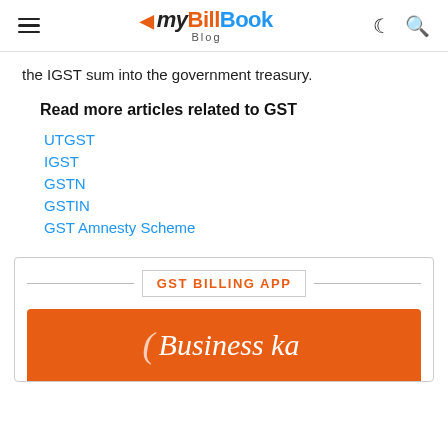myBillBook Blog
the IGST sum into the government treasury.
Read more articles related to GST
UTGST
IGST
GSTN
GSTIN
GST Amnesty Scheme
[Figure (infographic): GST Billing App promotional banner with orange background and 'Business ka' text in white cursive font]